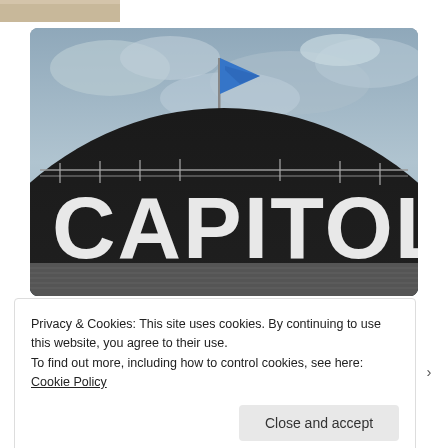[Figure (photo): Top portion of a cropped image strip at the very top of the page, showing a small part of another article photo (appears to show a light-colored surface).]
[Figure (photo): Photo of the Capitol Music Group building sign. The large word 'CAPITOL' appears in big white letters on a dark curved building facade. A blue flag flies from a pole at the top. Overcast grey sky in background.]
Capitol Music drops virtual rapper FN Meka amid
Privacy & Cookies: This site uses cookies. By continuing to use this website, you agree to their use.
To find out more, including how to control cookies, see here: Cookie Policy
Close and accept